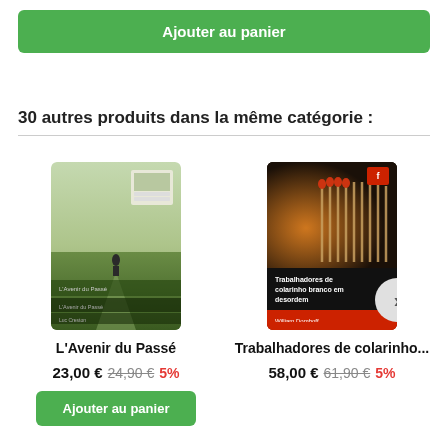Ajouter au panier
30 autres produits dans la même catégorie :
[Figure (photo): Book cover of 'L'Avenir du Passé' showing a person standing on a path in a green field with a small inset image and text labels on the cover.]
L'Avenir du Passé
23,00 € 24,90 € 5%
Ajouter au panier
[Figure (photo): Book cover of 'Trabalhadores de colarinho branco em desordem' by William Domhoff showing a dark cover with matchsticks/domino imagery and a red band at the bottom.]
Trabalhadores de colarinho...
58,00 € 61,90 € 5%